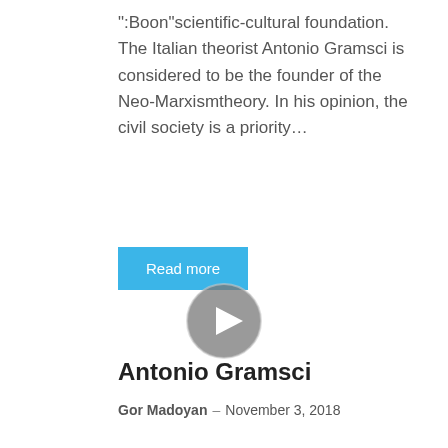":Boon"scientific-cultural foundation. The Italian theorist Antonio Gramsci is considered to be the founder of the Neo-Marxismtheory. In his opinion, the civil society is a priority…
Read more
[Figure (other): Video play button — circular grey button with a white triangle play icon in the center]
Antonio Gramsci
Gor Madoyan – November 3, 2018